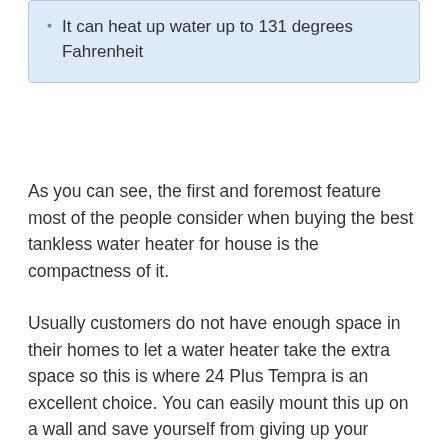It can heat up water up to 131 degrees Fahrenheit
As you can see, the first and foremost feature most of the people consider when buying the best tankless water heater for house is the compactness of it.
Usually customers do not have enough space in their homes to let a water heater take the extra space so this is where 24 Plus Tempra is an excellent choice. You can easily mount this up on a wall and save yourself from giving up your precious floor space.